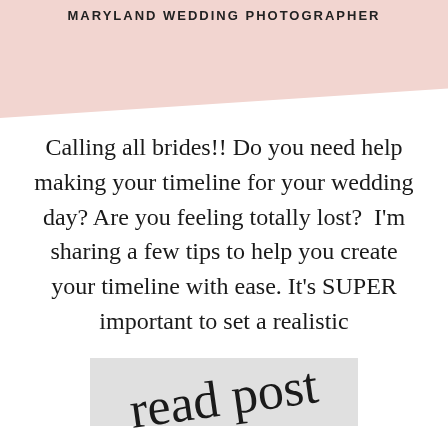MARYLAND WEDDING PHOTOGRAPHER
Calling all brides!! Do you need help making your timeline for your wedding day? Are you feeling totally lost?  I'm sharing a few tips to help you create your timeline with ease. It's SUPER important to set a realistic
[Figure (other): Handwritten script text reading 'read post' on a light gray rectangular button/banner]